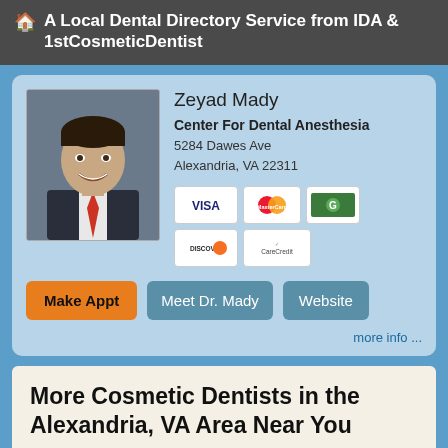A Local Dental Directory Service from IDA & 1stCosmeticDentist
Zeyad Mady
Center For Dental Anesthesia
5284 Dawes Ave
Alexandria, VA 22311
[Figure (photo): Headshot of dentist Zeyad Mady in suit with red tie]
Make Appt  Meet Dr. Mady  Website
more info ...
More Cosmetic Dentists in the Alexandria, VA Area Near You
Bayview Dental Laboratory
1207 Volvo Parkway
Chesapeake, VA 23320